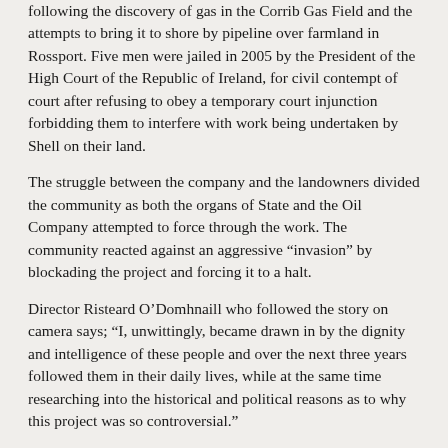following the discovery of gas in the Corrib Gas Field and the attempts to bring it to shore by pipeline over farmland in Rossport. Five men were jailed in 2005 by the President of the High Court of the Republic of Ireland, for civil contempt of court after refusing to obey a temporary court injunction forbidding them to interfere with work being undertaken by Shell on their land.
The struggle between the company and the landowners divided the community as both the organs of State and the Oil Company attempted to force through the work. The community reacted against an aggressive “invasion” by blockading the project and forcing it to a halt.
Director Risteard O’Domhnaill who followed the story on camera says; “I, unwittingly, became drawn in by the dignity and intelligence of these people and over the next three years followed them in their daily lives, while at the same time researching into the historical and political reasons as to why this project was so controversial.”
‘The Pipe’ won The George Morrison Feature Documentary Award at the Irish Film and Television Awards last Saturday night. The battle between community and the Oil Company goes on, with the recent imprisonment of protestors.
Patrons can call into the Arts Centre in the Town Hall, Banba Square, Nenagh to purchase tickets for this extraordinary film. Tickets are €6 and booking online for this and all Arts Centre events is available at